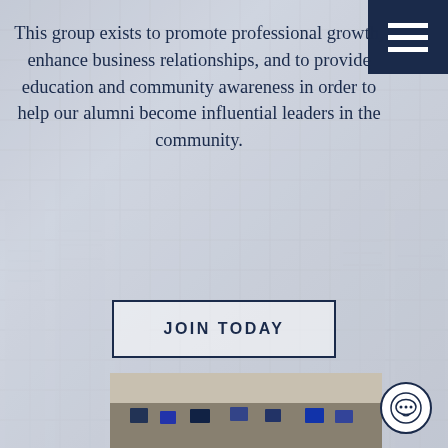[Figure (other): Navy blue hamburger menu icon in top right corner on dark navy background]
This group exists to promote professional growth, enhance business relationships, and to provide education and community awareness in order to help our alumni become influential leaders in the community.
JOIN TODAY
[Figure (photo): Office scene with people at computer workstations; a man in a blue suit is standing and pointing at a monitor while another person in an orange shirt sits at a desk in a large open-plan office environment]
[Figure (other): Chat icon button — circular white button with speech bubble and dots icon, positioned bottom right corner]